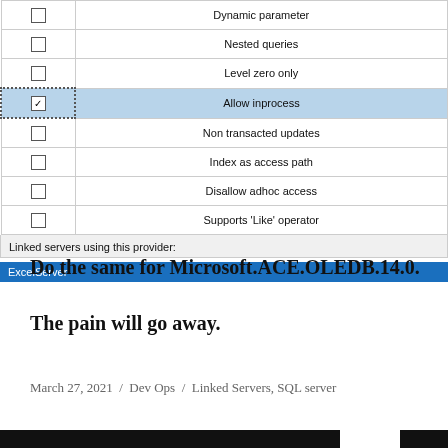[Figure (screenshot): A Windows UI dialog/table showing SQL Server linked server provider options. Rows include: Dynamic parameter (unchecked), Nested queries (unchecked), Level zero only (unchecked), Allow inprocess (checked, highlighted in blue), Non transacted updates (unchecked), Index as access path (unchecked), Disallow adhoc access (unchecked), Supports 'Like' operator (unchecked). Below the table is a 'Linked servers using this provider:' label with 'ExcelServer' shown in a blue selected bar.]
Do the same for Microsoft.ACE.OLEDB.14.0.
The pain will go away.
March 27, 2021  /  Dev Ops  /  Linked Servers, SQL server